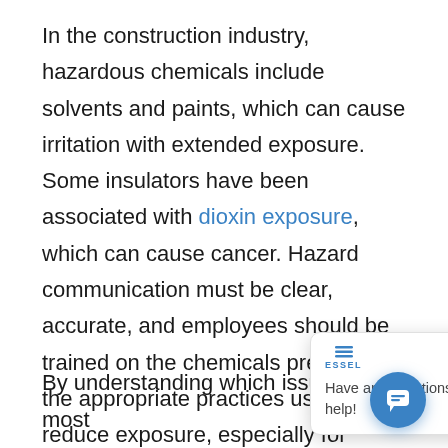In the construction industry, hazardous chemicals include solvents and paints, which can cause irritation with extended exposure. Some insulators have been associated with dioxin exposure, which can cause cancer. Hazard communication must be clear, accurate, and employees should be trained on the chemicals present and the appropriate practices used to reduce exposure, especially for chemicals with exposure which can cause chronic conditions, such as cancer or reproductive challenges.
By understanding which issues attract the most